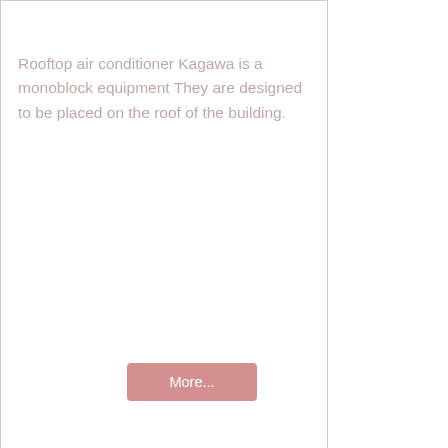Rooftop air conditioner Kagawa is a monoblock equipment They are designed to be placed on the roof of the building.
More...
KITANO commercial equipment consists of water-cooled and air-cooled chillers. They are available in three acoustic versions: "N", "SN", "SSN".
"N" - Standard acoustic performance. Compressors are directly accessible.
"SN" - Low Noise Acoustic Performance. Compressors are located in a box. Fans have a reduced rotation speed of 700 rpm.
"SSN" - Super low noise acoustic performance for operation with minimum noise discharge and suction lines by means of flexible hoses with silencers. The and a layer of flexible cellular polyurethane foam. The condenser section the last five models).